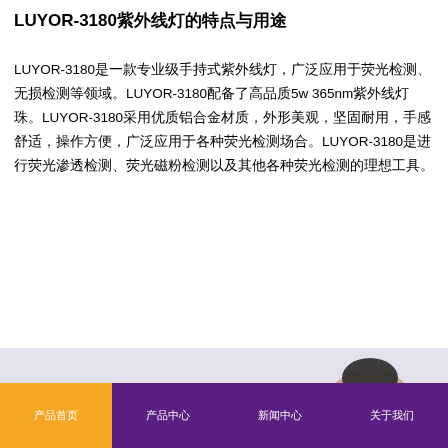LUYOR-3180紫外线灯的特点与用途
LUYOR-3180是一款专业级手持式紫外线灯，广泛应用于荧光检测、无损检测等领域。LUYOR-3180配备了高品质5w 365nm紫外线灯珠。LUYOR-3180采用优质铝合金材质，外形美观，坚固耐用，手感舒适，操作方便，广泛应用于各种荧光检测场合。LUYOR-3180是进行荧光渗透检测、荧光磁粉检测以及其他各种荧光检测的理想工具。
[Figure (photo): Partial image of a person wearing a black headband/visor against a light lavender/peach background, visible at the bottom of the content area above the navigation bar.]
产品首页  产品中心  新闻中心  关于我们